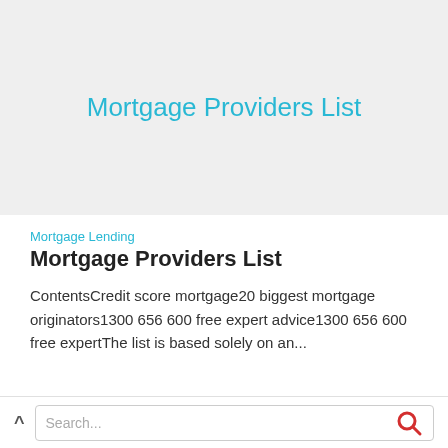[Figure (other): Gray hero banner background with centered title 'Mortgage Providers List' in cyan/teal colored text]
Mortgage Providers List
Mortgage Lending
Mortgage Providers List
ContentsCredit score mortgage20 biggest mortgage originators1300 656 600 free expert advice1300 656 600 free expertThe list is based solely on an...
[Figure (screenshot): Bottom navigation bar with caret-up symbol and search box with a red search icon]